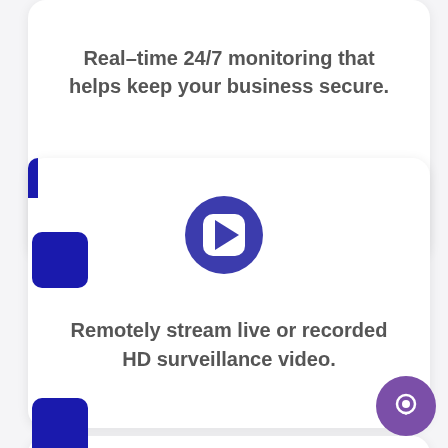Real-time 24/7 monitoring that helps keep your business secure.
[Figure (illustration): Purple circle play button icon representing video streaming]
Remotely stream live or recorded HD surveillance video.